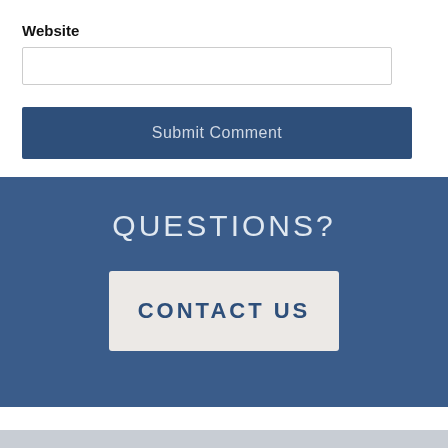Website
Submit Comment
QUESTIONS?
CONTACT US